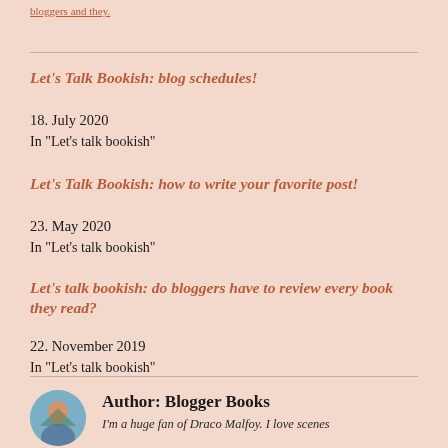bloggers and they
Let's Talk Bookish: blog schedules!
18. July 2020
In "Let's talk bookish"
Let's Talk Bookish: how to write your favorite post!
23. May 2020
In "Let's talk bookish"
Let's talk bookish: do bloggers have to review every book they read?
22. November 2019
In "Let's talk bookish"
Author: Blogger Books
I'm a huge fan of Draco Malfoy. I love scenes